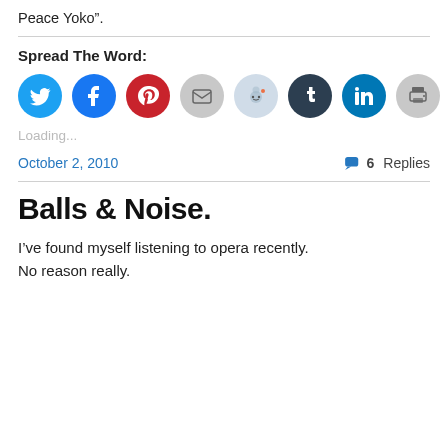Peace Yoko”.
Spread The Word:
[Figure (infographic): Row of social sharing icon buttons: Twitter (blue), Facebook (blue), Pinterest (red), Email (grey), Reddit (light blue), Tumblr (dark navy), LinkedIn (blue), Print (grey)]
Loading...
October 2, 2010   6 Replies
Balls & Noise.
I’ve found myself listening to opera recently.
No reason really.